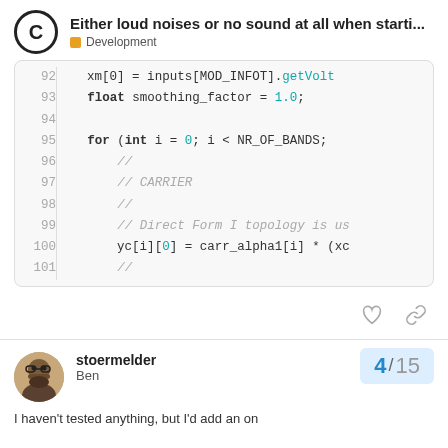Either loud noises or no sound at all when starti... | Development
[Figure (screenshot): Code block showing C++ code lines 92-101 with line numbers, keywords in bold, numbers in teal, and comments in italic gray. Lines show: xm[0] = inputs[MOD_INFOT].getVolt (line 92), float smoothing_factor = 1.0; (line 93), blank (94), for (int i = 0; i < NR_OF_BANDS; (line 95), // (line 96), // CARRIER (line 97), // (line 98), // Direct Form I topology is us (line 99), yc[i][0] = carr_alpha1[i] * (xc (line 100), // (line 101)]
[Figure (infographic): Like (heart) and link (chain) icon buttons]
stoermelder Ben | Oct '19
4 / 15
I haven't tested anything, but I'd add an on